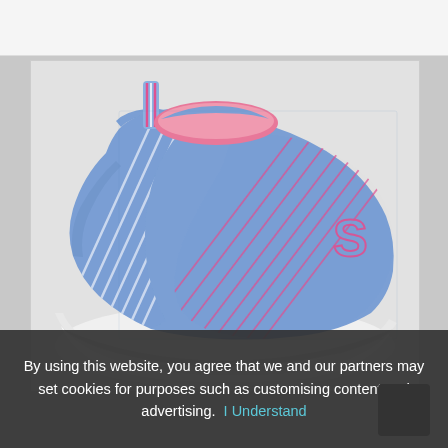[Figure (photo): A blue and pink Skechers girls trainer/sneaker shoe photographed from the rear-side angle, showing the mesh upper with diagonal stripe pattern, pink accent details, Skechers 'S' logo, and white chunky sole.]
By using this website, you agree that we and our partners may set cookies for purposes such as customising content and advertising.  I Understand